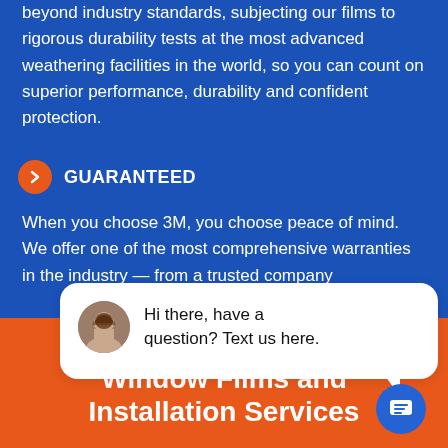beyond industry standards, subjecting our films to rigorous durability tests at the most advanced weathering facilities in the world, so you can count on superior performance, durability and confident protection.
GUARANTEED
When you choose 3M, you choose peace of mind. We offer one of the most comprehensive warranties in the industry — from a trusted company
[Figure (screenshot): Chat widget popup with close button and avatar of a woman, text: Hi there, have a question? Text us here.]
We Offer Best-In-Class Window Films and Installation Services